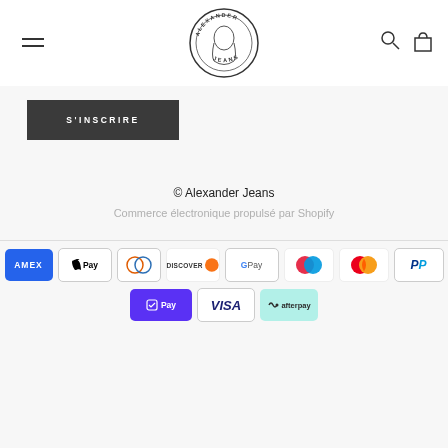[Figure (logo): Alexander Jeans circular logo with figure illustration in center, text ALEXANDER around top and JEANS around bottom]
S'INSCRIRE
© Alexander Jeans
Commerce électronique propulsé par Shopify
[Figure (infographic): Payment method icons row 1: American Express, Apple Pay, Diners Club, Discover, Google Pay, Maestro, Mastercard, PayPal; row 2: Shop Pay, Visa, Afterpay]